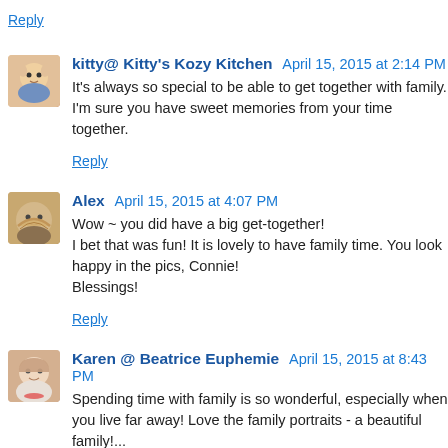Reply
kitty@ Kitty's Kozy Kitchen  April 15, 2015 at 2:14 PM
It's always so special to be able to get together with family. I'm sure you have sweet memories from your time together.
Reply
Alex  April 15, 2015 at 4:07 PM
Wow ~ you did have a big get-together!
I bet that was fun! It is lovely to have family time. You look happy in the pics, Connie!
Blessings!
Reply
Karen @ Beatrice Euphemie  April 15, 2015 at 8:43 PM
Spending time with family is so wonderful, especially when you live far away! Love the family portraits - a beautiful family!...
Reply